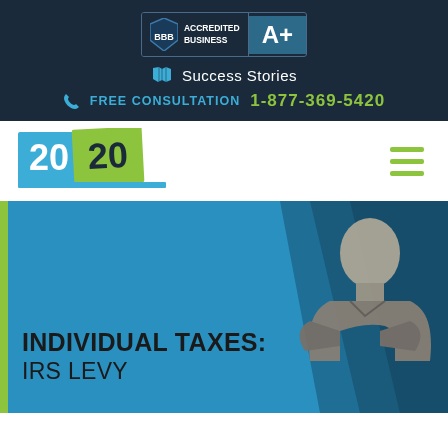[Figure (logo): BBB Accredited Business A+ badge with dark blue background]
Success Stories
FREE CONSULTATION  1-877-369-5420
[Figure (logo): 2020 Tax Resolution company logo with blue and green design]
INDIVIDUAL TAXES: IRS LEVY
[Figure (photo): Black and white photo of an older man with arms crossed against blue hero background]